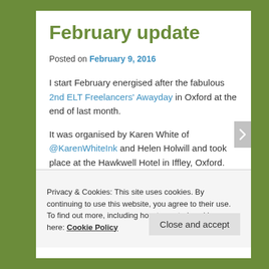February update
Posted on February 9, 2016
I start February energised after the fabulous 2nd ELT Freelancers' Awayday in Oxford at the end of last month.
It was organised by Karen White of @KarenWhiteInk and Helen Holwill and took place at the Hawkwell Hotel in Iffley, Oxford.
In the morning, Sophie O'Rourke and her colleagues from
Privacy & Cookies: This site uses cookies. By continuing to use this website, you agree to their use.
To find out more, including how to control cookies, see here: Cookie Policy
Close and accept